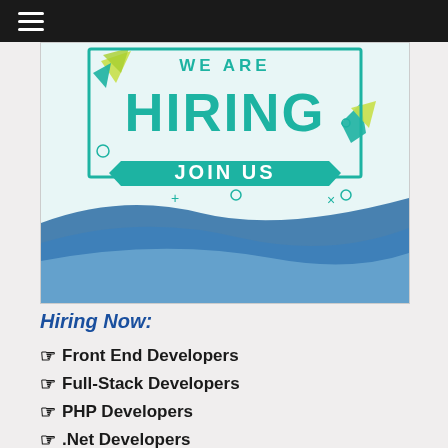[Figure (infographic): We Are Hiring – Join Us promotional banner with teal and blue wave design, decorative geometric shapes]
Hiring Now:
Front End Developers
Full-Stack Developers
PHP Developers
.Net Developers